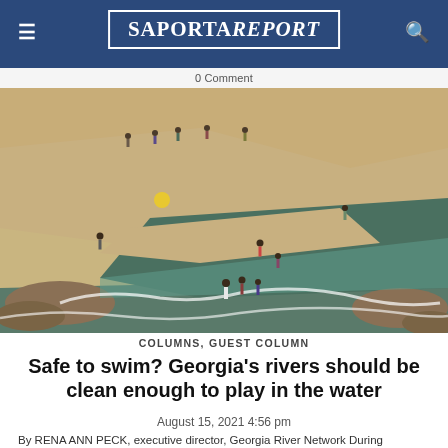SaportaReport
0 Comment
[Figure (photo): Aerial view of people playing in a river with sandy banks and rocky outcroppings, shallow water flowing over rocks]
COLUMNS, GUEST COLUMN
Safe to swim? Georgia's rivers should be clean enough to play in the water
August 15, 2021 4:56 pm
By RENA ANN PECK, executive director, Georgia River Network During